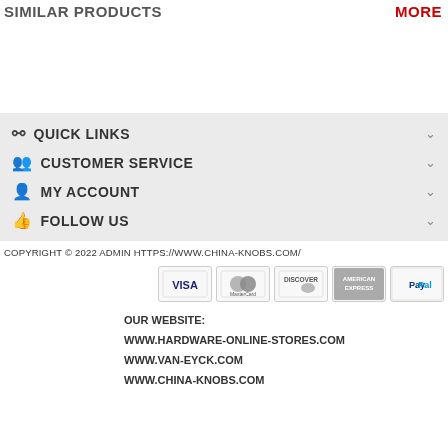SIMILAR PRODUCTS | MORE
QUICK LINKS
CUSTOMER SERVICE
MY ACCOUNT
FOLLOW US
COPYRIGHT © 2022 ADMIN HTTPS://WWW.CHINA-KNOBS.COM/
[Figure (other): Payment method logos: VISA, MasterCard, Discover, American Express, PayPal]
OUR WEBSITE:
WWW.HARDWARE-ONLINE-STORES.COM
WWW.VAN-EYCK.COM
WWW.CHINA-KNOBS.COM